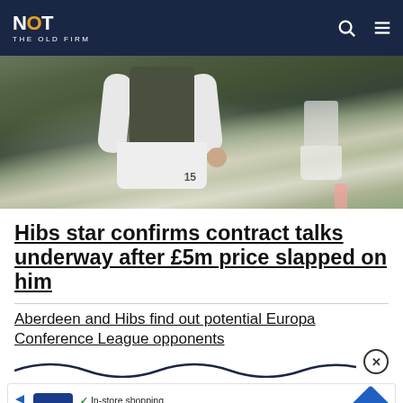NOT THE OLD FIRM
[Figure (photo): Football player in dark jersey, white arm sleeves, and white shorts with number 15, standing on a green pitch. Another player in white shorts visible in background.]
Hibs star confirms contract talks underway after £5m price slapped on him
Aberdeen and Hibs find out potential Europa Conference League opponents
[Figure (other): Advertisement banner showing CM logo with checkmarks for In-store shopping, Curbside pickup, Delivery, and a blue diamond navigation icon]